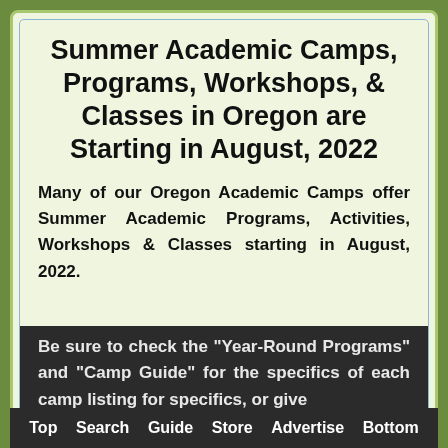Summer Academic Camps, Programs, Workshops, & Classes in Oregon are Starting in August, 2022
Many of our Oregon Academic Camps offer Summer Academic Programs, Activities, Workshops & Classes starting in August, 2022.
Be sure to check the "Year-Round Programs" and "Camp Guide" for the specifics of each camp listing for specifics, or give
Top   Search   Guide   Store   Advertise   Bottom